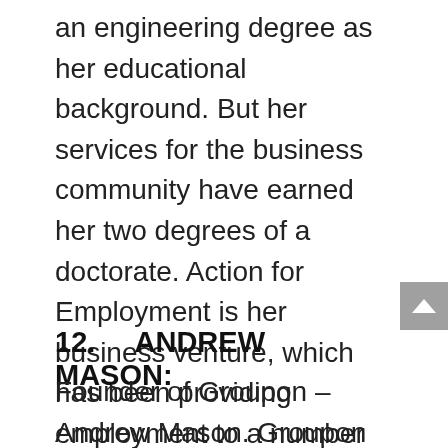an engineering degree as her educational background. But her services for the business community have earned her two degrees of a doctorate. Action for Employment is her business venture, which has been providing employment to a number of individuals in different companies of the world. Around 4000 members have been appointed by her up till now. Even her business is the government recruiter as well.
12.    ANDREW MASON:
Founder of Groupon – Andrew Mason. Groupon is definitely one of the newer